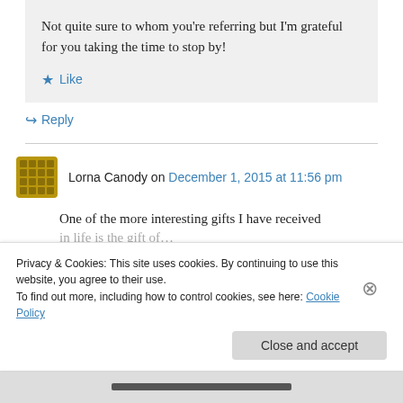Not quite sure to whom you’re referring but I’m grateful for you taking the time to stop by!
★ Like
↪ Reply
Lorna Canody on December 1, 2015 at 11:56 pm
One of the more interesting gifts I have received
Privacy & Cookies: This site uses cookies. By continuing to use this website, you agree to their use.
To find out more, including how to control cookies, see here: Cookie Policy
Close and accept